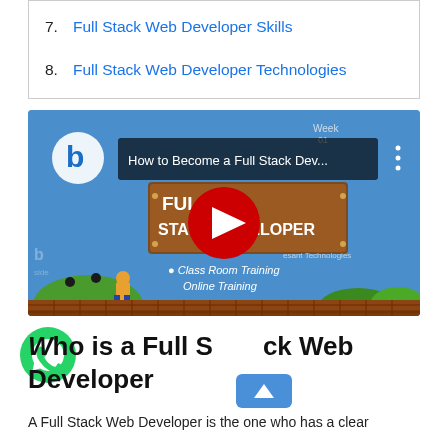7. Full Stack Web Developer Skills
8. Full Stack Web Developer Technologies
[Figure (screenshot): YouTube video thumbnail: 'How to Become a Full Stack Dev...' showing a game-style graphic with FULL STACK DEVELOPER text, a play button, Class Room Training and Online Training text.]
Who is a Full Stack Web Developer
A Full Stack Web Developer is the one who has a clear